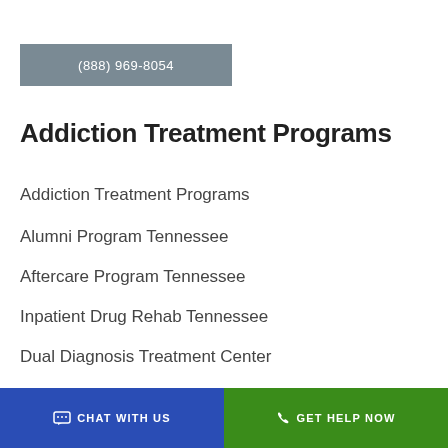(888) 969-8054
Addiction Treatment Programs
Addiction Treatment Programs
Alumni Program Tennessee
Aftercare Program Tennessee
Inpatient Drug Rehab Tennessee
Dual Diagnosis Treatment Center
Drug and Alcohol Detox Tennessee
CHAT WITH US   GET HELP NOW